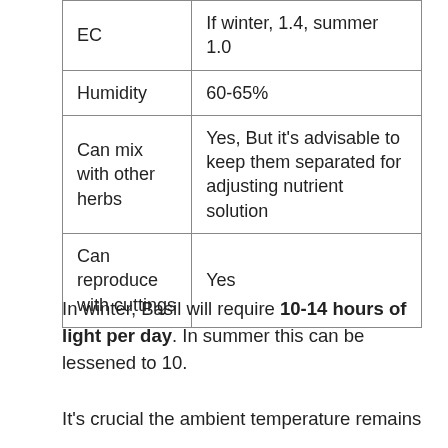| EC | If winter, 1.4, summer 1.0 |
| Humidity | 60-65% |
| Can mix with other herbs | Yes, But it’s advisable to keep them separated for adjusting nutrient solution |
| Can reproduce with cuttings | Yes |
In winter, Basil will require 10-14 hours of light per day. In summer this can be lessened to 10.
It’s crucial the ambient temperature remains